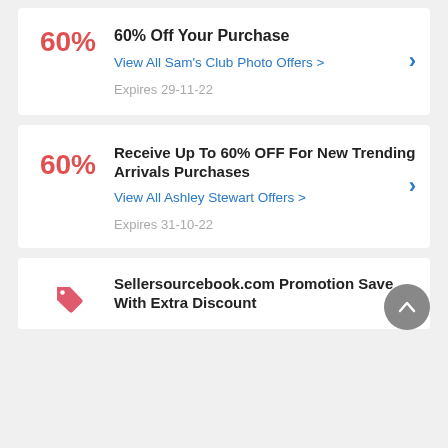60% Off Your Purchase
View All Sam's Club Photo Offers >
Expires 29-11-22
Receive Up To 60% OFF For New Trending Arrivals Purchases
View All Ashley Stewart Offers >
Expires 31-10-22
Sellersourcebook.com Promotion Save With Extra Discount
View All sellersourcebook.com Offers